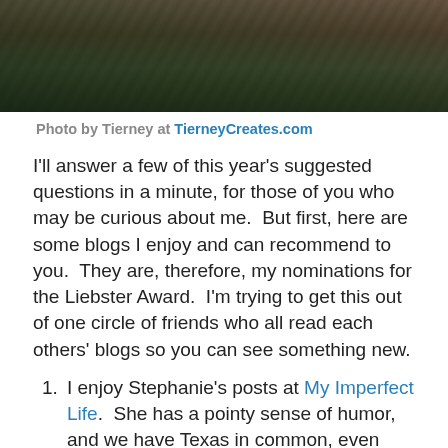[Figure (photo): Close-up photo of a mossy or lichen-covered rock or tree bark with dark textures and green foliage in background]
Photo by Tierney at TierneyCreates.com
I'll answer a few of this year's suggested questions in a minute, for those of you who may be curious about me.  But first, here are some blogs I enjoy and can recommend to you.  They are, therefore, my nominations for the Liebster Award.  I'm trying to get this out of one circle of friends who all read each others' blogs so you can see something new.
I enjoy Stephanie's posts at My Imperfect Life.  She has a pointy sense of humor, and we have Texas in common, even though hers is an Aggie household (eek!). Oh yes, and she blogs about quilts, too.